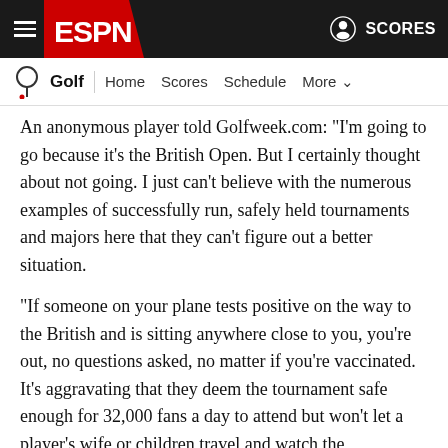ESPN Golf Navigation Bar
An anonymous player told Golfweek.com: "I'm going to go because it's the British Open. But I certainly thought about not going. I just can't believe with the numerous examples of successfully run, safely held tournaments and majors here that they can't figure out a better situation.
"If someone on your plane tests positive on the way to the British and is sitting anywhere close to you, you're out, no questions asked, no matter if you're vaccinated. It's aggravating that they deem the tournament safe enough for 32,000 fans a day to attend but won't let a player's wife or children travel and watch the tournament, nor will they even let players visit a restaurant without threat of disqualification."
The European Tour has been operating under similar